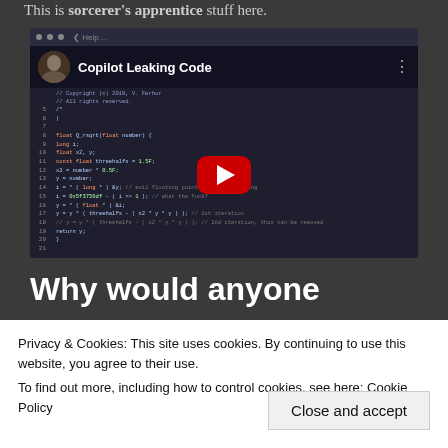This is sorcerer's apprentice stuff here.
[Figure (screenshot): YouTube video embed titled 'Copilot Leaking Code' showing a code editor with C code (Q_rsqrt fast inverse square root function) in a dark IDE, with a red play button overlay.]
Why would anyone
Privacy & Cookies: This site uses cookies. By continuing to use this website, you agree to their use.
To find out more, including how to control cookies, see here: Cookie Policy
Close and accept
I must say I was really mad at having someone